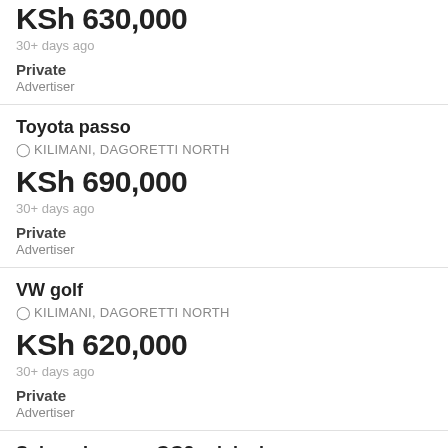KSh 630,000
30+ days ago
Private
Advertiser
Toyota passo
KILIMANI, DAGORETTI NORTH
KSh 690,000
30+ days ago
Private
Advertiser
VW golf
KILIMANI, DAGORETTI NORTH
KSh 620,000
30+ days ago
Private
Advertiser
Subaru Impreza GG2 original p